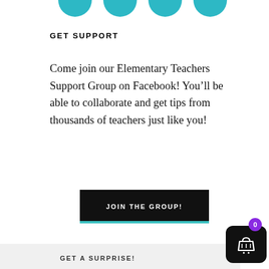[Figure (illustration): Row of teal/turquoise circles partially cropped at top of page]
GET SUPPORT
Come join our Elementary Teachers Support Group on Facebook! You’ll be able to collaborate and get tips from thousands of teachers just like you!
[Figure (other): Black button with white text reading JOIN THE GROUP! and a teal bottom border]
GET A SURPRISE!
[Figure (other): Shopping cart widget: purple circle with 0, black rounded square with basket icon]